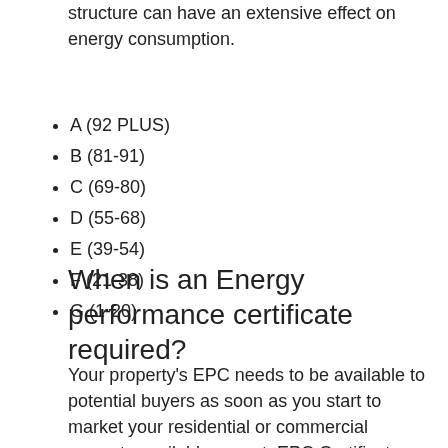structure can have an extensive effect on energy consumption.
A (92 PLUS)
B (81-91)
C (69-80)
D (55-68)
E (39-54)
F (21-38)
G (1-20)
When is an Energy performance certificate required?
Your property's EPC needs to be available to potential buyers as soon as you start to market your residential or commercial property available or rent. EPC Certificates